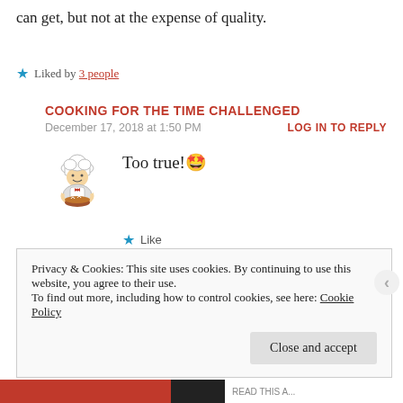can get, but not at the expense of quality.
★ Liked by 3 people
COOKING FOR THE TIME CHALLENGED
December 17, 2018 at 1:50 PM
LOG IN TO REPLY
[Figure (illustration): Cartoon chef avatar illustration]
Too true!🤩
★ Like
Privacy & Cookies: This site uses cookies. By continuing to use this website, you agree to their use.
To find out more, including how to control cookies, see here: Cookie Policy
Close and accept